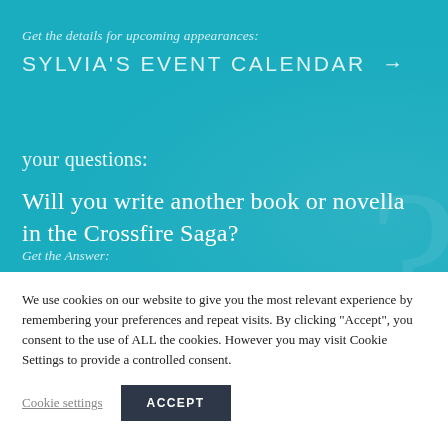Get the details for upcoming appearances:
SYLVIA'S EVENT CALENDAR →
your questions:
Will you write another book or novella in the Crossfire Saga?
Get the Answer:
We use cookies on our website to give you the most relevant experience by remembering your preferences and repeat visits. By clicking "Accept", you consent to the use of ALL the cookies. However you may visit Cookie Settings to provide a controlled consent.
Cookie settings
ACCEPT